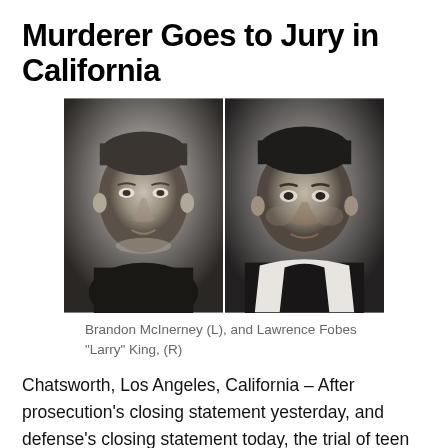Murderer Goes to Jury in California
[Figure (photo): Two black-and-white portrait photos side by side: Brandon McInerney on the left and Lawrence Fobes 'Larry' King on the right.]
Brandon McInerney (L), and Lawrence Fobes "Larry" King, (R)
Chatsworth, Los Angeles, California – After prosecution's closing statement yesterday, and defense's closing statement today, the trial of teen Brandon McInerney goes to the jury.  Long weeks of hard-fought testimony,